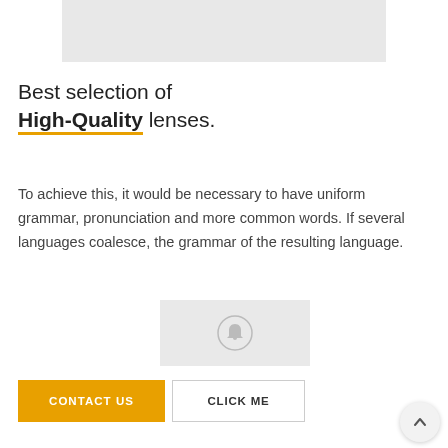[Figure (photo): Gray placeholder image at the top of the page]
Best selection of High-Quality lenses.
To achieve this, it would be necessary to have uniform grammar, pronunciation and more common words. If several languages coalesce, the grammar of the resulting language.
[Figure (photo): Gray placeholder image with a bell/alert icon in the center]
CONTACT US
CLICK ME